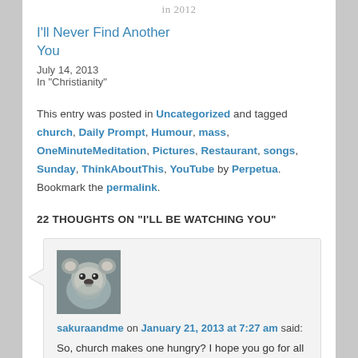in 2012
I'll Never Find Another You
July 14, 2013
In "Christianity"
This entry was posted in Uncategorized and tagged church, Daily Prompt, Humour, mass, OneMinuteMeditation, Pictures, Restaurant, songs, Sunday, ThinkAboutThis, YouTube by Perpetua. Bookmark the permalink.
22 THOUGHTS ON "I'LL BE WATCHING YOU"
[Figure (photo): Avatar photo of a koala bear]
sakuraandme on January 21, 2013 at 7:27 am said:
So, church makes one hungry? I hope you go for all that yummy disgusting fried breakfast! Lol